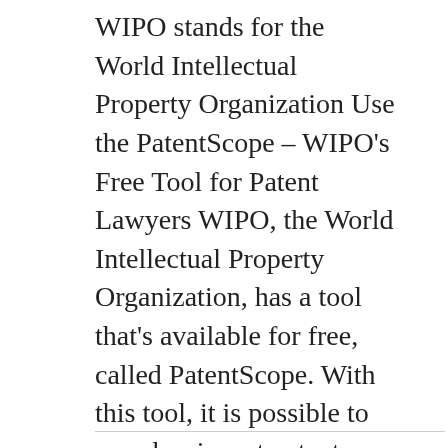WIPO stands for the World Intellectual Property Organization Use the PatentScope – WIPO's Free Tool for Patent Lawyers WIPO, the World Intellectual Property Organization, has a tool that's available for free, called PatentScope. With this tool, it is possible to search prior art patents from multiple databases, which many inventors pay professionals to do. PatentScope [...]
Filed Under: Uncategorized